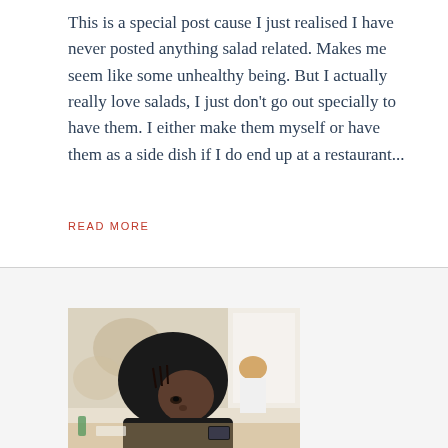This is a special post cause I just realised I have never posted anything salad related. Makes me seem like some unhealthy being. But I actually really love salads, I just don't go out specially to have them. I either make them myself or have them as a side dish if I do end up at a restaurant...
READ MORE
[Figure (photo): Photo of a person wearing a black headscarf/hijab, looking downward, in what appears to be a restaurant setting with decorative wall art in the background and another person visible in the background.]